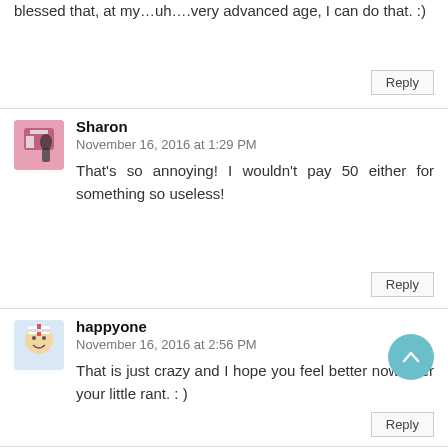blessed that, at my…uh….very advanced age, I can do that. :)
Reply
Sharon
November 16, 2016 at 1:29 PM
That's so annoying! I wouldn't pay 50 either for something so useless!
Reply
happyone
November 16, 2016 at 2:56 PM
That is just crazy and I hope you feel better now after your little rant. : )
Reply